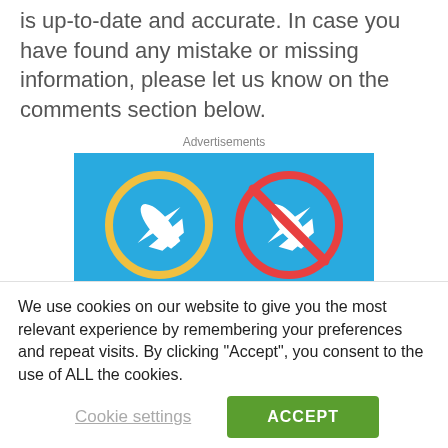is up-to-date and accurate. In case you have found any mistake or missing information, please let us know on the comments section below.
Advertisements
[Figure (illustration): Advertisement banner with blue background showing two airplane icons — one in a yellow circle (allowed) and one in a red circle with a diagonal line through it (not allowed). Text reads: UP TO €600 FOR DELAYED]
We use cookies on our website to give you the most relevant experience by remembering your preferences and repeat visits. By clicking "Accept", you consent to the use of ALL the cookies.
Cookie settings | ACCEPT